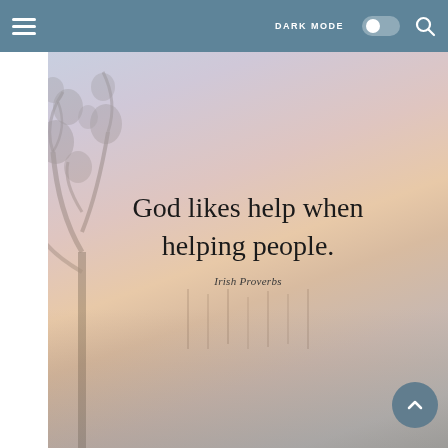DARK MODE [toggle] [search]
[Figure (photo): A serene landscape photo with a muted pink and lavender sky over water, with tree silhouettes on the left side. Overlaid with the quote: 'God likes help when helping people.' attributed to Irish Proverbs.]
God likes help when helping people.
Irish Proverbs